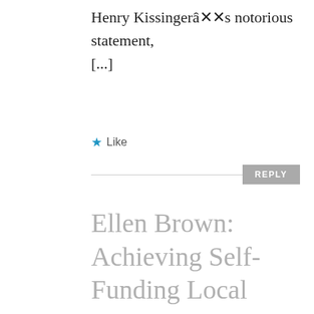Henry Kissingerââs notorious statement, [...]
Like
REPLY
Ellen Brown: Achieving Self-Funding Local Sovereignty as Global Food Systems Collapse - Scheerpost.com - YouTube Money